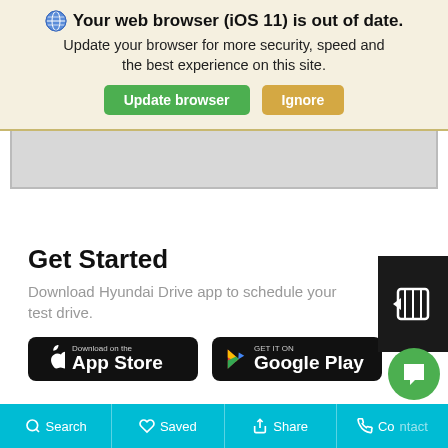Your web browser (iOS 11) is out of date. Update your browser for more security, speed and the best experience on this site. Update browser | Ignore
[Figure (screenshot): Grey content area below browser update banner]
Get Started
Download Hyundai Drive app to schedule your test drive.
[Figure (screenshot): Download on the App Store and GET IT ON Google Play buttons]
Search | Saved | Share | Contact